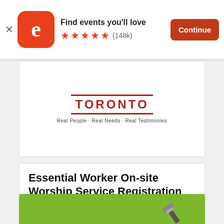[Figure (screenshot): Eventbrite app banner with orange rounded-square logo showing 'e', text 'Find events you'll love', five orange stars and (148k) ratings, and a dark red Continue button]
[Figure (logo): Toronto church logo with red text 'TORONTO' and tagline 'Real People · Real Needs · Real Testimonies']
Essential Worker On-site Worship Service Registration
Sun, Aug 28, 10:30 AM
30 Bertal Rd • Toronto, ON
Free
[Figure (photo): Green banner at bottom of screen, partially visible, with a tool/wrench graphic on the right side]